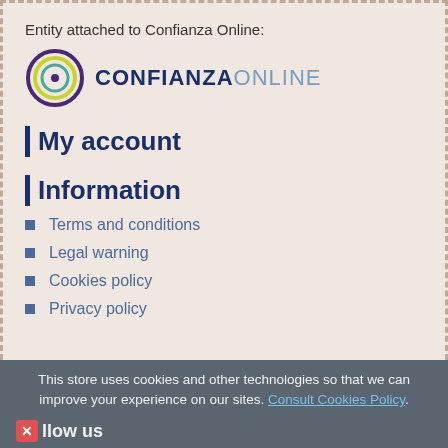Entity attached to Confianza Online:
[Figure (logo): Confianza Online logo with circular icon and text CONFIANZAONLINE]
My account
Information
Terms and conditions
Legal warning
Cookies policy
Privacy policy
This store uses cookies and other technologies so that we can improve your experience on our sites. Consult Cookies Policy.
Follow us